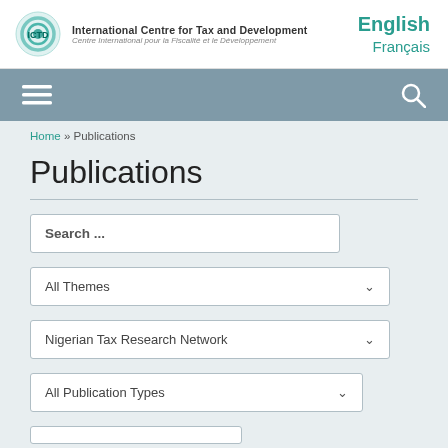[Figure (logo): ICTD logo circle with teal/green concentric rings and ICTD text]
International Centre for Tax and Development
Centre International pour la Fiscalité et le Développement
English
Français
[Figure (infographic): Navigation bar with hamburger menu icon and search icon]
Home » Publications
Publications
Search ...
All Themes
Nigerian Tax Research Network
All Publication Types